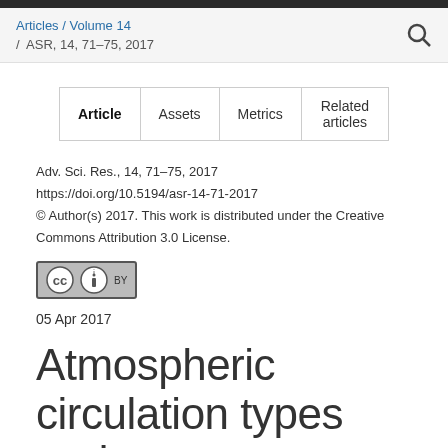Articles / Volume 14 / ASR, 14, 71–75, 2017
| Article | Assets | Metrics | Related articles |
| --- | --- | --- | --- |
Adv. Sci. Res., 14, 71–75, 2017
https://doi.org/10.5194/asr-14-71-2017
© Author(s) 2017. This work is distributed under the Creative Commons Attribution 3.0 License.
[Figure (logo): Creative Commons Attribution (CC BY) license badge]
05 Apr 2017
Atmospheric circulation types and